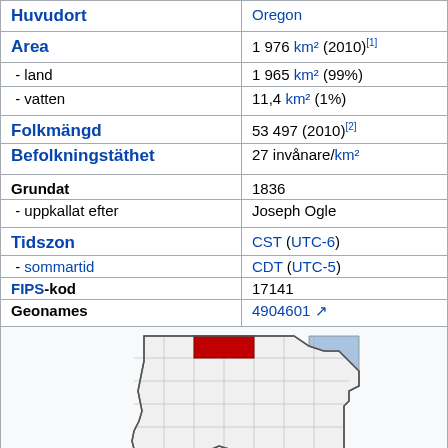| Egenskap | Värde |
| --- | --- |
| Huvudort | Oregon |
| Area | 1 976 km² (2010)[1] |
| - land | 1 965 km² (99%) |
| - vatten | 11,4 km² (1%) |
| Folkmängd | 53 497 (2010)[2] |
| Befolkningstäthet | 27 invånare/km² |
| Grundat | 1836 |
| - uppkallat efter | Joseph Ogle |
| Tidszon | CST (UTC-6) |
| - sommartid | CDT (UTC-5) |
| FIPS-kod | 17141 |
| Geonames | 4904601 ↗ |
[Figure (map): Map of Illinois showing the location of Ogle County highlighted in red in the northern part of the state, with a blue region on the right side representing Lake Michigan area.]